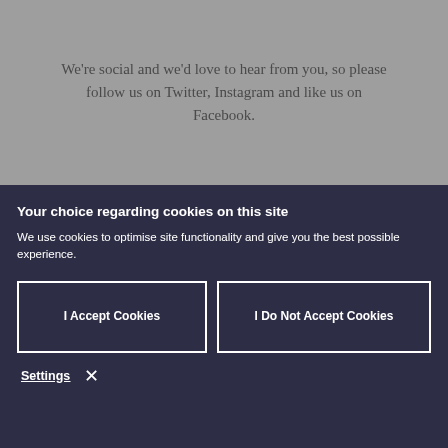We're social and we'd love to hear from you, so please follow us on Twitter, Instagram and like us on Facebook.
Your choice regarding cookies on this site
We use cookies to optimise site functionality and give you the best possible experience.
I Accept Cookies
I Do Not Accept Cookies
Settings